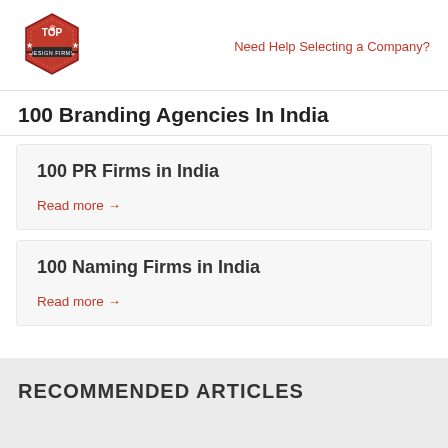Need Help Selecting a Company?
100 Branding Agencies In India
100 PR Firms in India
Read more →
100 Naming Firms in India
Read more →
RECOMMENDED ARTICLES